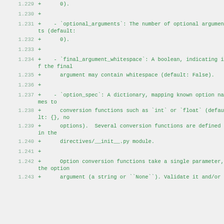1.229  +      0).
1.230  +
1.231  +    - `optional_arguments`: The number of optional arguments (default:
1.232  +      0).
1.233  +
1.234  +    - `final_argument_whitespace`: A boolean, indicating if the final
1.235  +      argument may contain whitespace (default: False).
1.236  +
1.237  +    - `option_spec`: A dictionary, mapping known option names to
1.238  +      conversion functions such as `int` or `float` (default: {}, no
1.239  +      options).  Several conversion functions are defined in the
1.240  +      directives/__init__.py module.
1.241  +
1.242  +      Option conversion functions take a single parameter, the option
1.243  +      argument (a string or ``None``). Validate it and/or